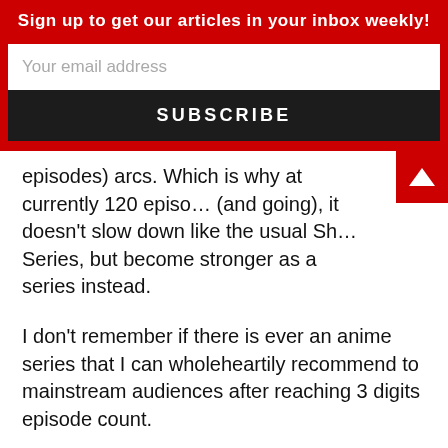Sign up to get our articles in your inbox weekly!
Your email address
SUBSCRIBE
episodes) arcs. Which is why at currently 120 episodes (and going), it doesn't slow down like the usual Sh... Series, but become stronger as a series instead.
I don't remember if there is ever an anime series that I can wholeheartily recommend to mainstream audiences after reaching 3 digits episode count.
No fillers. No significant animation quality dip (aside from 1 episode at episode 90s). 120×24 minutes well spent. 😀
Like